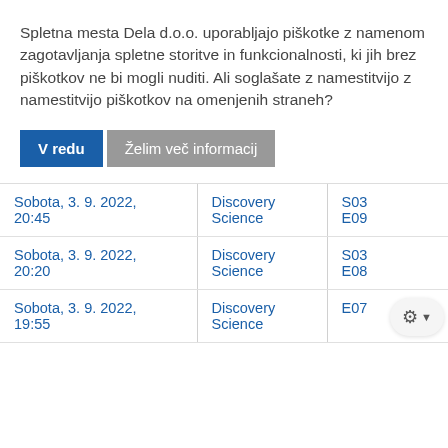Spletna mesta Dela d.o.o. uporabljajo piškotke z namenom zagotavljanja spletne storitve in funkcionalnosti, ki jih brez piškotkov ne bi mogli nuditi. Ali soglašate z namestitvijo z namestitvijo piškotkov na omenjenih straneh?
V redu | Želim več informacij
| Sobota, 3. 9. 2022, 20:45 | Discovery Science | S03
E09 |
| Sobota, 3. 9. 2022, 20:20 | Discovery Science | S03
E08 |
| Sobota, 3. 9. 2022, 19:55 | Discovery Science | E07 |